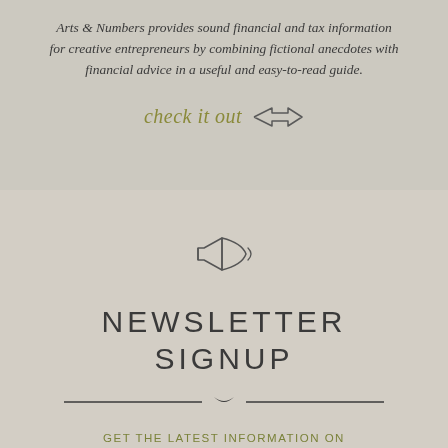Arts & Numbers provides sound financial and tax information for creative entrepreneurs by combining fictional anecdotes with financial advice in a useful and easy-to-read guide.
[Figure (illustration): Handwritten cursive text 'check it out' in olive/gold color followed by a right-pointing double arrow icon]
[Figure (illustration): Simple outline drawing of a megaphone/bullhorn icon]
NEWSLETTER SIGNUP
[Figure (illustration): Decorative horizontal divider line with ornamental center element]
GET THE LATEST INFORMATION ON UPCOMING EVENTS BY SUBSCRIBING TO OUR EMAIL NEWSLETTER